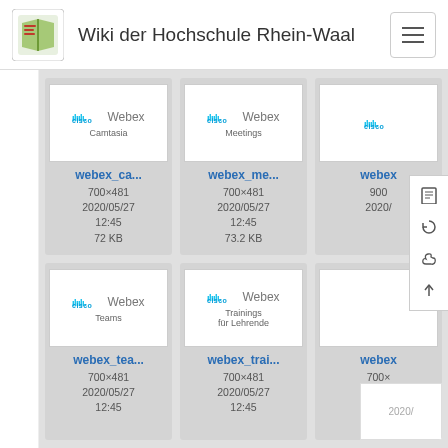Wiki der Hochschule Rhein-Waal
[Figure (screenshot): File browser grid showing Cisco Webex related image files: webex_ca... (700×481, 2020/05/27 12:45, 72 KB), webex_me... (700×481, 2020/05/27 12:45, 73.2 KB), webex... (900×..., 2020/...), webex_tea... (700×481, 2020/05/27 12:45), webex_trai... (700×481, 2020/05/27 12:45), webex... (700×...) with thumbnails showing Cisco Webex Camtasia, Cisco Webex Meetings, Cisco Webex Teams, Cisco Webex Trainings für Lehrende logos]